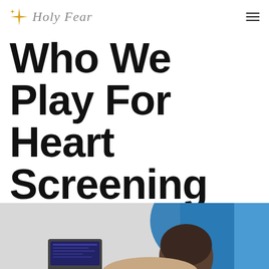Holy Fear
Who We Play For Heart Screening Permission
[Figure (photo): Photo of a person (back of head visible) in front of a screen with blue background, appearing to be a medical/screening context]